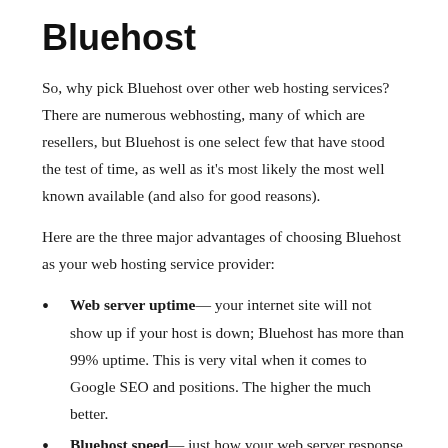Bluehost
So, why pick Bluehost over other web hosting services? There are numerous webhosting, many of which are resellers, but Bluehost is one select few that have stood the test of time, as well as it's most likely the most well known available (and also for good reasons).
Here are the three major advantages of choosing Bluehost as your web hosting service provider:
Web server uptime— your internet site will not show up if your host is down; Bluehost has more than 99% uptime. This is very vital when it comes to Google SEO and positions. The higher the much better.
Bluehost speed— just how your web server response establishes exactly how rapid your website reveals on a browser; Bluehost is lighting fast, which suggests you will decrease your bounce price. Albeit not the best when it